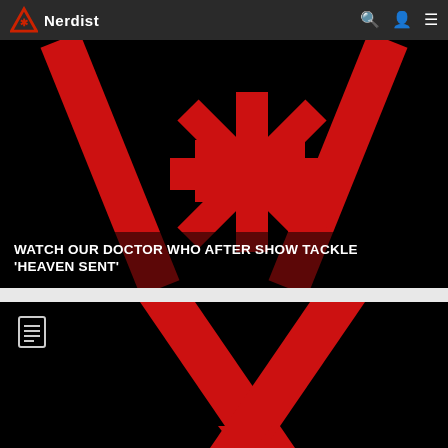Nerdist
[Figure (screenshot): Black background with red Nerdist logo symbol - asterisk and angular shapes in red on black]
WATCH OUR DOCTOR WHO AFTER SHOW TACKLE 'HEAVEN SENT'
[Figure (screenshot): Black background with red Nerdist logo - large angular chevron shape with downward arrow, document icon overlay in top left]